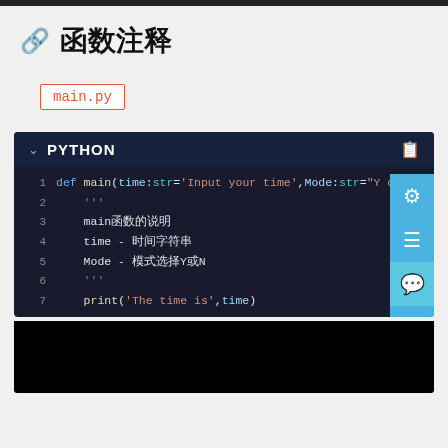函数注释
main.py
[Figure (screenshot): Python code editor showing a function definition with annotations. Line 1: def main(time:str='Input your time',Mode:str="Y or N?") -> str. Lines 2-6: docstring with Chinese text. Line 7: print('The time is',time)]
[Figure (screenshot): Black area at the bottom, likely a video or output panel]